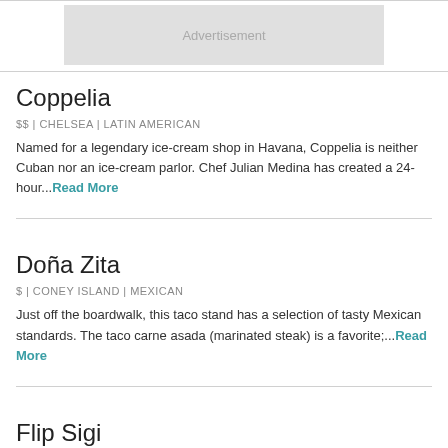[Figure (other): Advertisement placeholder banner]
Coppelia
$$ | CHELSEA | LATIN AMERICAN
Named for a legendary ice-cream shop in Havana, Coppelia is neither Cuban nor an ice-cream parlor. Chef Julian Medina has created a 24-hour...Read More
Doña Zita
$ | CONEY ISLAND | MEXICAN
Just off the boardwalk, this taco stand has a selection of tasty Mexican standards. The taco carne asada (marinated steak) is a favorite;...Read More
Flip Sigi